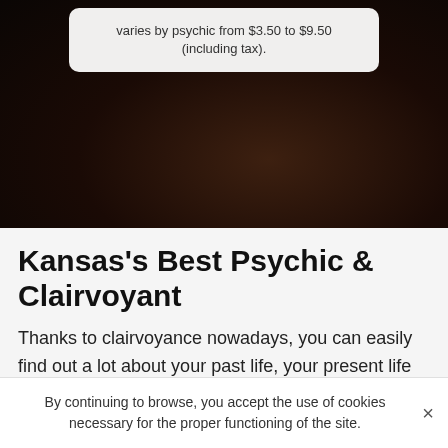[Figure (photo): Dark background photo of hands or textured dark surface, with a light grey rounded tooltip/popup box at the top showing pricing text]
varies by psychic from $3.50 to $9.50 (including tax).
Kansas's Best Psychic & Clairvoyant
Thanks to clairvoyance nowadays, you can easily find out a lot about your past life, your present life as well as about major events that may happen. The number of people who turn to clairvoyance is far from negligible because of the many benefits that can be found there. Unfortunately, there is a problem. It is not always easy to find the ideal psychic,
By continuing to browse, you accept the use of cookies necessary for the proper functioning of the site.